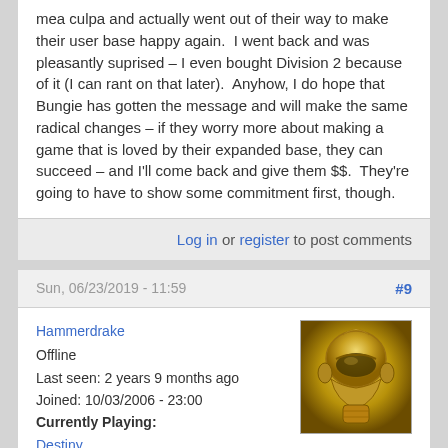mea culpa and actually went out of their way to make their user base happy again.  I went back and was pleasantly suprised – I even bought Division 2 because of it (I can rant on that later).  Anyhow, I do hope that Bungie has gotten the message and will make the same radical changes – if they worry more about making a game that is loved by their expanded base, they can succeed – and I'll come back and give them $$.  They're going to have to show some commitment first, though.
Log in or register to post comments
Sun, 06/23/2019 - 11:59
#9
Hammerdrake
Offline
Last seen: 2 years 9 months ago
Joined: 10/03/2006 - 23:00
Currently Playing:
Destiny
[Figure (photo): Avatar image of user Hammerdrake showing a gold-colored armored helmet/mask from the game Destiny]